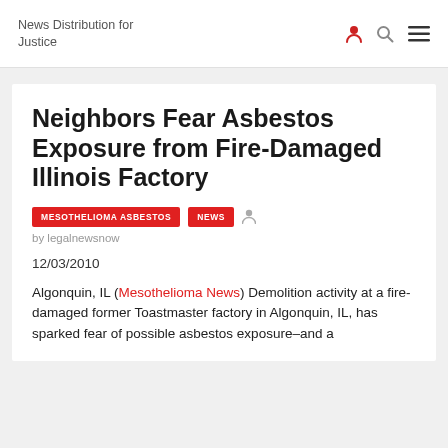News Distribution for Justice
Neighbors Fear Asbestos Exposure from Fire-Damaged Illinois Factory
MESOTHELIOMA ASBESTOS  NEWS  by legalnewsnow
12/03/2010
Algonquin, IL (Mesothelioma News) Demolition activity at a fire-damaged former Toastmaster factory in Algonquin, IL, has sparked fear of possible asbestos exposure–and a